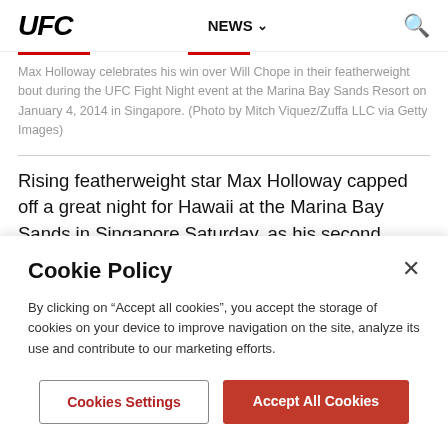UFC  NEWS  🔍
Max Holloway celebrates his win over Will Chope in their featherweight bout during the UFC Fight Night event at the Marina Bay Sands Resort on January 4, 2014 in Singapore. (Photo by Mitch Viquez/Zuffa LLC via Getty Images)
Rising featherweight star Max Holloway capped off a great night for Hawaii at the Marina Bay Sands in Singapore Saturday, as his second round TKO win over Octagon
Cookie Policy
By clicking on "Accept all cookies", you accept the storage of cookies on your device to improve navigation on the site, analyze its use and contribute to our marketing efforts.
Cookies Settings
Accept All Cookies